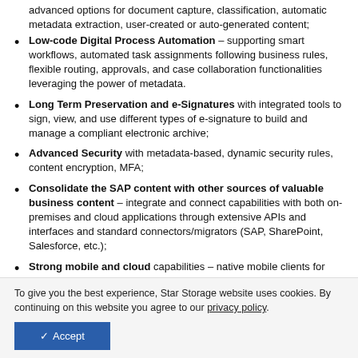advanced options for document capture, classification, automatic metadata extraction, user-created or auto-generated content;
Low-code Digital Process Automation – supporting smart workflows, automated task assignments following business rules, flexible routing, approvals, and case collaboration functionalities leveraging the power of metadata.
Long Term Preservation and e-Signatures with integrated tools to sign, view, and use different types of e-signature to build and manage a compliant electronic archive;
Advanced Security with metadata-based, dynamic security rules, content encryption, MFA;
Consolidate the SAP content with other sources of valuable business content – integrate and connect capabilities with both on-premises and cloud applications through extensive APIs and interfaces and standard connectors/migrators (SAP, SharePoint, Salesforce, etc.);
Strong mobile and cloud capabilities – native mobile clients for iOS and Android, CMIS for simple integration, designed for Cloud and SaaS providers with multi-tenancy capabilities;
To give you the best experience, Star Storage website uses cookies. By continuing on this website you agree to our privacy policy.